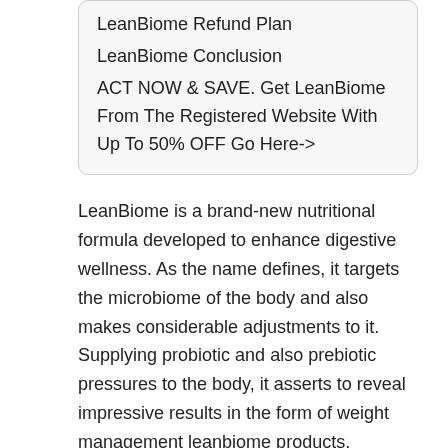LeanBiome Refund Plan
LeanBiome Conclusion
ACT NOW & SAVE. Get LeanBiome From The Registered Website With Up To 50% OFF Go Here->
LeanBiome is a brand-new nutritional formula developed to enhance digestive wellness. As the name defines, it targets the microbiome of the body and also makes considerable adjustments to it. Supplying probiotic and also prebiotic pressures to the body, it asserts to reveal impressive results in the form of weight management leanbiome products.
Weight reduction is dull and challenging, yet there are several ways that you can use to make it